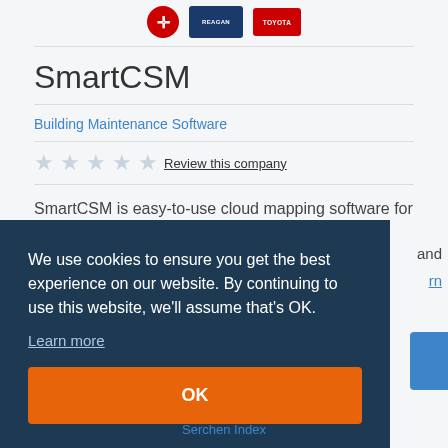[Figure (logo): Company logos: Salvation Army, Reagan, Toyota]
SmartCSM
Building Maintenance Software
☆☆☆☆☆ Review this company
SmartCSM is easy-to-use cloud mapping software for critical facilities infrastructure. We replace legacy
and
rn
We use cookies to ensure you get the best experience on our website. By continuing to use this website, we'll assume that's OK.
Learn more
OK
Serchen Index